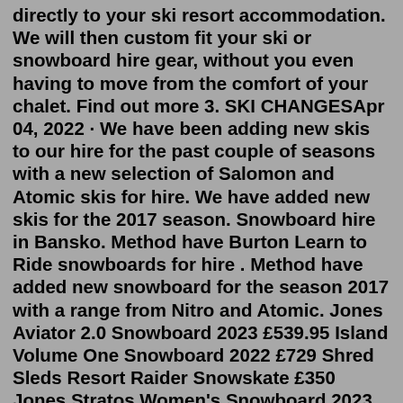directly to your ski resort accommodation. We will then custom fit your ski or snowboard hire gear, without you even having to move from the comfort of your chalet. Find out more 3. SKI CHANGESApr 04, 2022 · We have been adding new skis to our hire for the past couple of seasons with a new selection of Salomon and Atomic skis for hire. We have added new skis for the 2017 season. Snowboard hire in Bansko. Method have Burton Learn to Ride snowboards for hire . Method have added new snowboard for the season 2017 with a range from Nitro and Atomic. Jones Aviator 2.0 Snowboard 2023 £539.95 Island Volume One Snowboard 2022 £729 Shred Sleds Resort Raider Snowskate £350 Jones Stratos Women's Snowboard 2023 £559.95 Sale Sims STF Snowboard 2021 £324.35 Sale Salomon No Drama Women's Snowboard 2021 £260 Sale Sims Solo Snowboard 2021 £390 Sale Sims Wall Snowboard 2021 £259.35 SaleBook ski and snowboard equipment and accessories. Oure hire